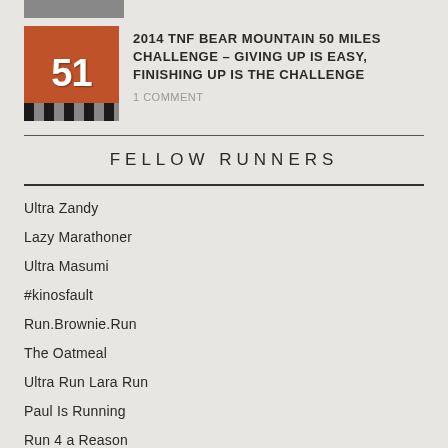[Figure (photo): Partial top image stub visible at top of page]
2014 TNF BEAR MOUNTAIN 50 MILES CHALLENGE – GIVING UP IS EASY, FINISHING UP IS THE CHALLENGE
1 COMMENT
FELLOW RUNNERS
Ultra Zandy
Lazy Marathoner
Ultra Masumi
#kinosfault
Run.Brownie.Run
The Oatmeal
Ultra Run Lara Run
Paul Is Running
Run 4 a Reason